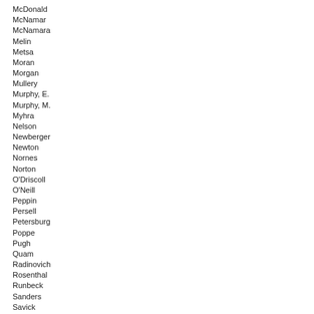McDonald
McNamar
McNamara
Melin
Metsa
Moran
Morgan
Mullery
Murphy, E.
Murphy, M.
Myhra
Nelson
Newberger
Newton
Nornes
Norton
O'Driscoll
O'Neill
Peppin
Persell
Petersburg
Poppe
Pugh
Quam
Radinovich
Rosenthal
Runbeck
Sanders
Savick
Sawatzky
Schoen
Schomacker
Scott
Selcer
Simonson
Slocum
Sundin
Swedzinski
Theis
Torkelson